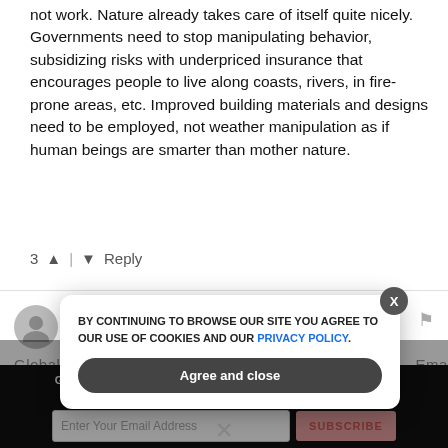not work. Nature already takes care of itself quite nicely. Governments need to stop manipulating behavior, subsidizing risks with underpriced insurance that encourages people to live along coasts, rivers, in fire-prone areas, etc. Improved building materials and designs need to be employed, not weather manipulation as if human beings are smarter than mother nature.
3 ^ | v Reply
Geophysics
5 years ago
Global Warming And Climate Change Are Clim...
GET THE WORLD'S BEST NATURAL HEALTH NEWSLETTER DELIVERED STRAIGHT TO YOUR INBOX
Enter Your Email Address
SUBSCRIBE
BY CONTINUING TO BROWSE OUR SITE YOU AGREE TO OUR USE OF COOKIES AND OUR PRIVACY POLICY.
Agree and close